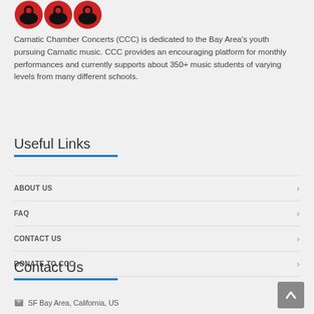[Figure (logo): Carnatic Chamber Concerts logo — three red circular badges with black silhouettes]
Carnatic Chamber Concerts (CCC) is dedicated to the Bay Area's youth pursuing Carnatic music. CCC provides an encouraging platform for monthly performances and currently supports about 350+ music students of varying levels from many different schools.
Useful Links
ABOUT US
FAQ
CONTACT US
DONATE TO CCC
Contact Us
SF Bay Area, California, US